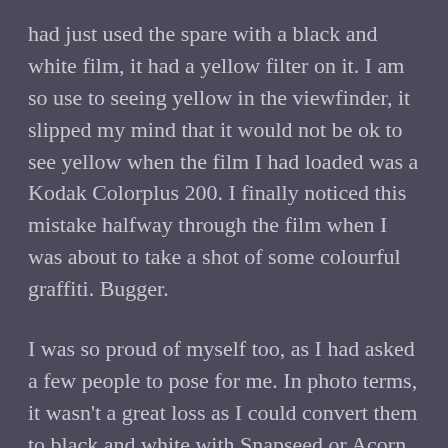had just used the spare with a black and white film, it had a yellow filter on it. I am so use to seeing yellow in the viewfinder, it slipped my mind that it would not be ok to see yellow when the film I had loaded was a Kodak Colorplus 200. I finally noticed this mistake halfway through the film when I was about to take a shot of some colourful graffiti. Bugger.
I was so proud of myself too, as I had asked a few people to pose for me. In photo terms, it wasn't a great loss as I could convert them to black and white with Snapseed or Acorn. But it screwed any chance at winning anything.